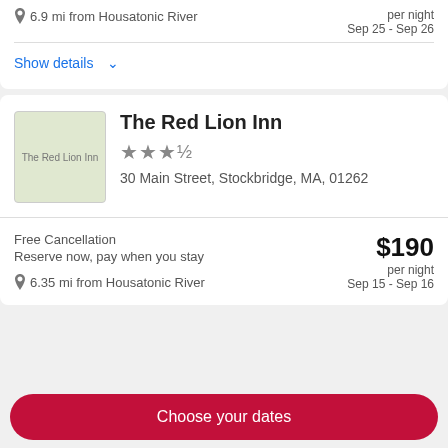6.9 mi from Housatonic River
per night
Sep 25 - Sep 26
Show details
The Red Lion Inn
★★★½
30 Main Street, Stockbridge, MA, 01262
Free Cancellation
Reserve now, pay when you stay
$190
per night
Sep 15 - Sep 16
6.35 mi from Housatonic River
Choose your dates